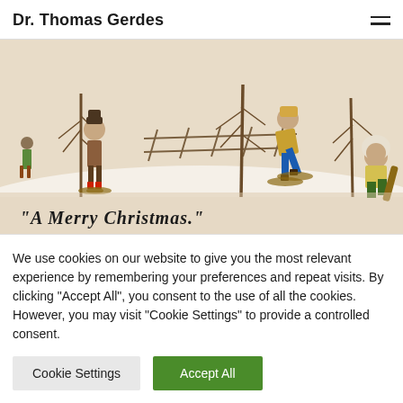Dr. Thomas Gerdes
[Figure (illustration): Vintage Christmas card illustration showing people snowshoeing in a winter scene with bare trees and snow. Text in lower left reads "A Merry Christmas."]
Frohe Festtage 2017
We use cookies on our website to give you the most relevant experience by remembering your preferences and repeat visits. By clicking "Accept All", you consent to the use of all the cookies. However, you may visit "Cookie Settings" to provide a controlled consent.